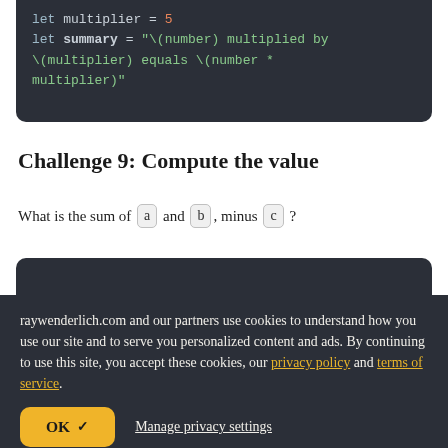[Figure (screenshot): Dark code editor block showing Swift code: let multiplier = 5, let summary = string with interpolation]
Challenge 9: Compute the value
What is the sum of a and b, minus c?
[Figure (screenshot): Partial dark code editor block visible behind cookie banner]
raywenderlich.com and our partners use cookies to understand how you use our site and to serve you personalized content and ads. By continuing to use this site, you accept these cookies, our privacy policy and terms of service.
OK ✓  Manage privacy settings